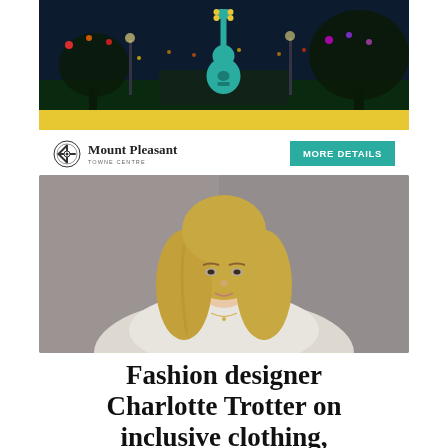[Figure (infographic): Advertisement banner for Mount Pleasant Towne Centre featuring a night outdoor scene with colorful lights and trees, a teal guitar icon overlay, a yellow bar at the bottom, and below: the Mount Pleasant Towne Centre logo on the left and a teal 'MORE DETAILS' button on the right.]
[Figure (photo): Portrait photo of Charlotte Trotter, a young blonde woman with long wavy hair, wearing a light-colored top, against a grey background.]
Fashion designer Charlotte Trotter on inclusive clothing, must-have fall